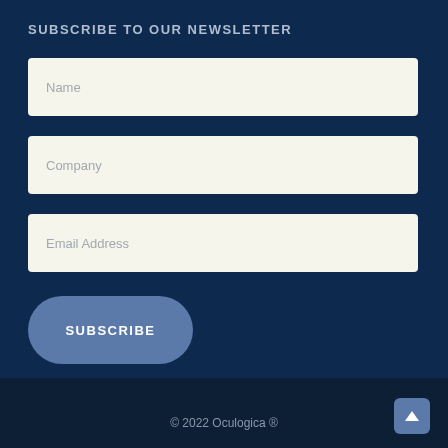SUBSCRIBE TO OUR NEWSLETTER
Name
Company
Email Address
SUBSCRIBE
© 2022 Oculogica ®